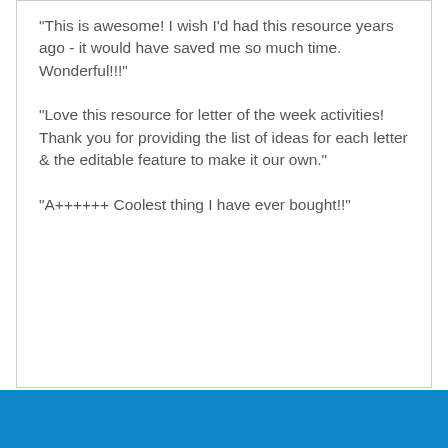"This is awesome! I wish I'd had this resource years ago - it would have saved me so much time. Wonderful!!!"
"Love this resource for letter of the week activities! Thank you for providing the list of ideas for each letter & the editable feature to make it our own."
"A++++++ Coolest thing I have ever bought!!"